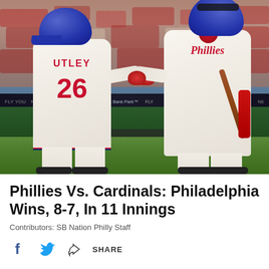[Figure (photo): Two Philadelphia Phillies baseball players in white uniforms celebrating at Citizens Bank Park. Player on left wears #26 UTLEY jersey with blue batting helmet. Player on right wears Phillies uniform and blue helmet, holding a bat, reaching out to fist-bump or high-five. Crowd visible in background wearing red. Advertisement banners including Citizens Bank Park signage visible in background.]
Phillies Vs. Cardinals: Philadelphia Wins, 8-7, In 11 Innings
Contributors: SB Nation Philly Staff
SHARE